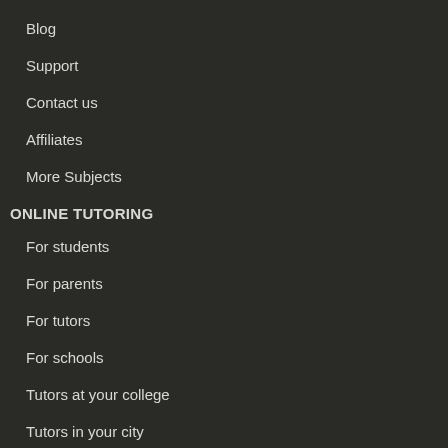Blog
Support
Contact us
Affiliates
More Subjects
ONLINE TUTORING
For students
For parents
For tutors
For schools
Tutors at your college
Tutors in your city